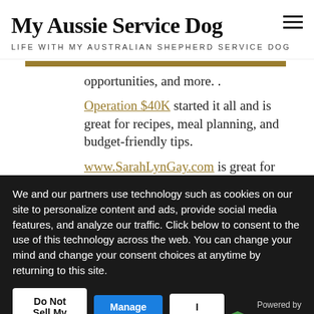My Aussie Service Dog
LIFE WITH MY AUSTRALIAN SHEPHERD SERVICE DOG
opportunities, and more. .
Operation $40K started it all and is great for recipes, meal planning, and budget-friendly tips.
www.SarahLynGay.com is great for STEM
We and our partners use technology such as cookies on our site to personalize content and ads, provide social media features, and analyze our traffic. Click below to consent to the use of this technology across the web. You can change your mind and change your consent choices at anytime by returning to this site.
Do Not Sell My Data | Manage Options | I Accept | Powered by UniConsent
adventures of a traveling missionaries and